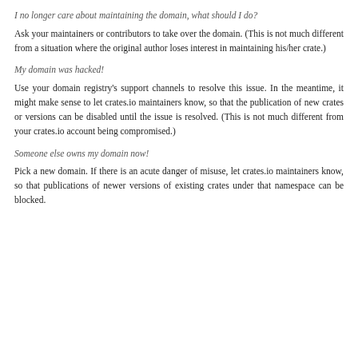I no longer care about maintaining the domain, what should I do?
Ask your maintainers or contributors to take over the domain. (This is not much different from a situation where the original author loses interest in maintaining his/her crate.)
My domain was hacked!
Use your domain registry's support channels to resolve this issue. In the meantime, it might make sense to let crates.io maintainers know, so that the publication of new crates or versions can be disabled until the issue is resolved. (This is not much different from your crates.io account being compromised.)
Someone else owns my domain now!
Pick a new domain. If there is an acute danger of misuse, let crates.io maintainers know, so that publications of newer versions of existing crates under that namespace can be blocked.